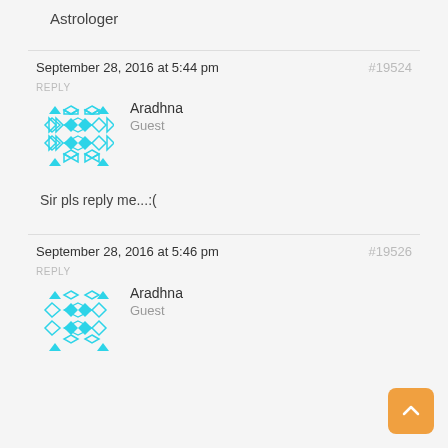Astrologer
September 28, 2016 at 5:44 pm
#19524
REPLY
Aradhna
Guest
[Figure (illustration): Cyan geometric avatar icon made of diamond and triangle shapes]
Sir pls reply me...:(
September 28, 2016 at 5:46 pm
#19526
REPLY
Aradhna
Guest
[Figure (illustration): Cyan geometric avatar icon made of diamond and triangle shapes]